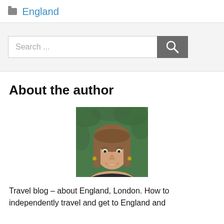England
[Figure (other): Search bar with text input field placeholder 'Search ...' and a dark grey search button with magnifier icon]
About the author
[Figure (photo): Portrait photo of a smiling woman with light brown hair, outdoors with green foliage background]
Travel blog – about England, London. How to independently travel and get to England and